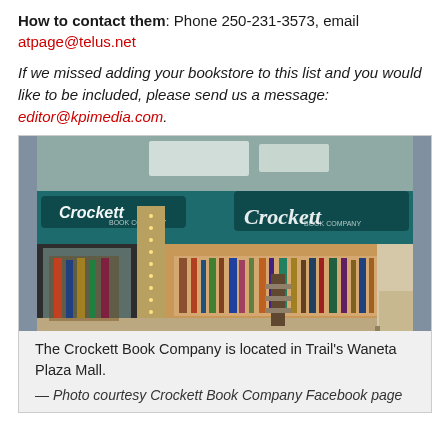How to contact them: Phone 250-231-3573, email atpage@telus.net
If we missed adding your bookstore to this list and you would like to be included, please send us a message: editor@kpimedia.com.
[Figure (photo): Exterior photo of The Crockett Book Company store inside Waneta Plaza Mall, showing teal-colored storefront with neon 'Crockett Book Company' signs on both sides, display windows with books and gifts, and mall corridor visible.]
The Crockett Book Company is located in Trail's Waneta Plaza Mall.
— Photo courtesy Crockett Book Company Facebook page